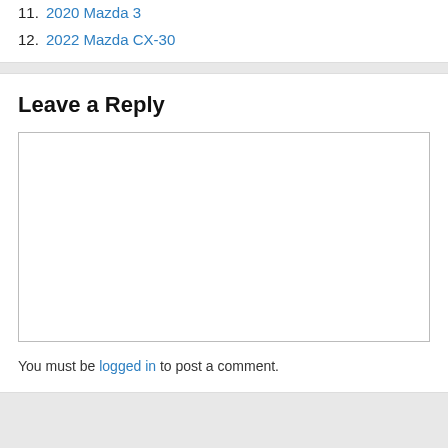11. 2020 Mazda 3
12. 2022 Mazda CX-30
Leave a Reply
You must be logged in to post a comment.